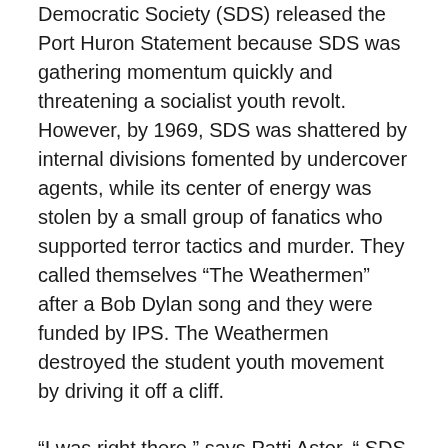Democratic Society (SDS) released the Port Huron Statement because SDS was gathering momentum quickly and threatening a socialist youth revolt. However, by 1969, SDS was shattered by internal divisions fomented by undercover agents, while its center of energy was stolen by a small group of fanatics who supported terror tactics and murder. They called themselves “The Weathermen” after a Bob Dylan song and they were funded by IPS. The Weathermen destroyed the student youth movement by driving it off a cliff.
“I was right there,” says Patti Astor. “ SDS was really gathering steam and poised to become a real force and the Weather Underground blew the whole thing to shit. It was a serious, like almost a body snatching scenario, where one day everything was fine, and the next…people you KNEW were screaming about getting in cells and tons of crazy shit.”